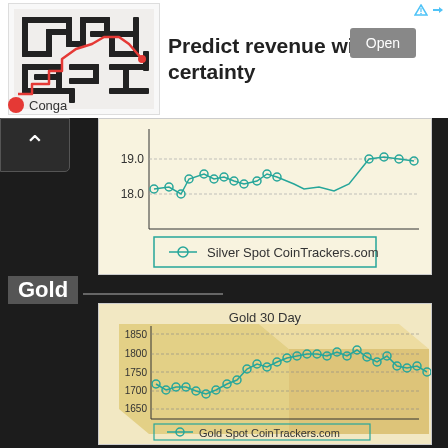[Figure (infographic): Advertisement banner: maze/route illustration with red line path, text 'Predict revenue with certainty', Open button, Conga branding]
[Figure (line-chart): Partial silver spot price line chart showing values around 18.0 to 19.0, with cyan circle markers on dark line, background image of silver bar]
Gold
[Figure (line-chart): Gold 30 Day]
Gold Spot CoinTrackers.com